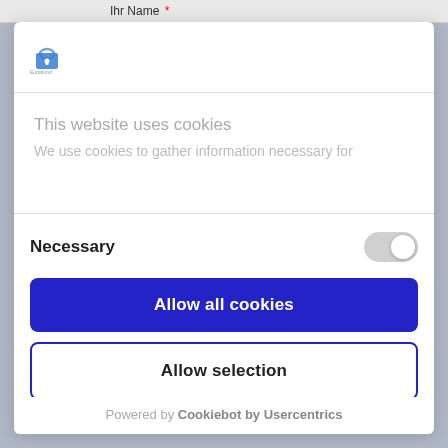Ihr Name *
[Figure (logo): Small website logo icon (lock/badge) with text below]
This website uses cookies
We use cookies to gather information necessary for
Necessary
Allow all cookies
Allow selection
Use necessary cookies only
Powered by Cookiebot by Usercentrics